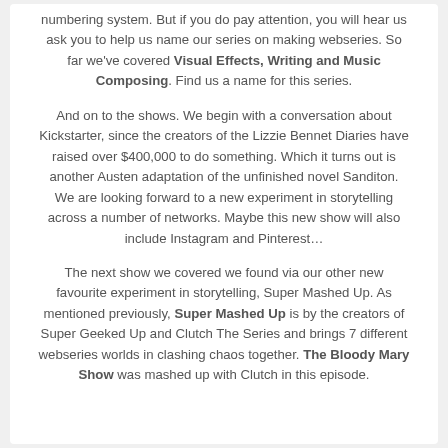numbering system. But if you do pay attention, you will hear us ask you to help us name our series on making webseries. So far we've covered Visual Effects, Writing and Music Composing. Find us a name for this series.
And on to the shows. We begin with a conversation about Kickstarter, since the creators of the Lizzie Bennet Diaries have raised over $400,000 to do something. Which it turns out is another Austen adaptation of the unfinished novel Sanditon. We are looking forward to a new experiment in storytelling across a number of networks. Maybe this new show will also include Instagram and Pinterest…
The next show we covered we found via our other new favourite experiment in storytelling, Super Mashed Up. As mentioned previously, Super Mashed Up is by the creators of Super Geeked Up and Clutch The Series and brings 7 different webseries worlds in clashing chaos together. The Bloody Mary Show was mashed up with Clutch in this episode.